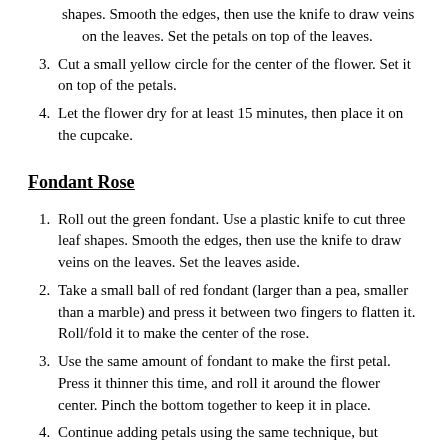shapes. Smooth the edges, then use the knife to draw veins on the leaves. Set the petals on top of the leaves.
3. Cut a small yellow circle for the center of the flower. Set it on top of the petals.
4. Let the flower dry for at least 15 minutes, then place it on the cupcake.
Fondant Rose
1. Roll out the green fondant. Use a plastic knife to cut three leaf shapes. Smooth the edges, then use the knife to draw veins on the leaves. Set the leaves aside.
2. Take a small ball of red fondant (larger than a pea, smaller than a marble) and press it between two fingers to flatten it. Roll/fold it to make the center of the rose.
3. Use the same amount of fondant to make the first petal. Press it thinner this time, and roll it around the flower center. Pinch the bottom together to keep it in place.
4. Continue adding petals using the same technique, but slightly increasing the amount of fondant used to make each